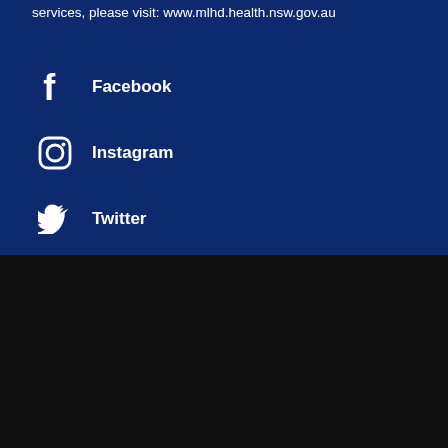services, please visit: www.mlhd.health.nsw.gov.au
Facebook
Instagram
Twitter
Privacy Statement  |
Terms of Use  |
Accessibility  |  Moderation
© 2022 MHDA Experiences. All rights reserved. Log In to Site
[Figure (logo): The HiVE logo — hexagonal honeycomb icon in blue tones with text 'The HiVE' and 'POWERED BY' above]